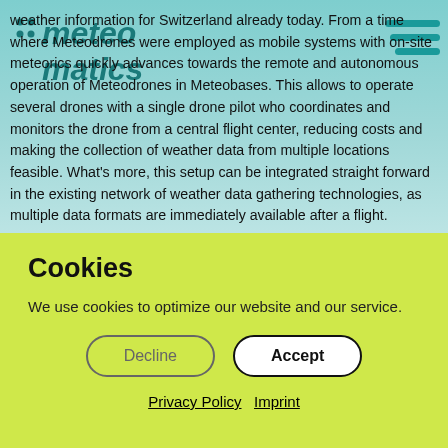meteomatics logo
weather information for Switzerland already today. From a time where Meteodrones were employed as mobile systems with on-site meteorics quickly advances towards the remote and autonomous operation of Meteodrones in Meteobases. This allows to operate several drones with a single drone pilot who coordinates and monitors the drone from a central flight center, reducing costs and making the collection of weather data from multiple locations feasible. What's more, this setup can be integrated straight forward in the existing network of weather data gathering technologies, as multiple data formats are immediately available after a flight.
Recognizing the value of high resolution and highly accurate
Cookies
We use cookies to optimize our website and our service.
Decline  Accept
Privacy Policy    Imprint